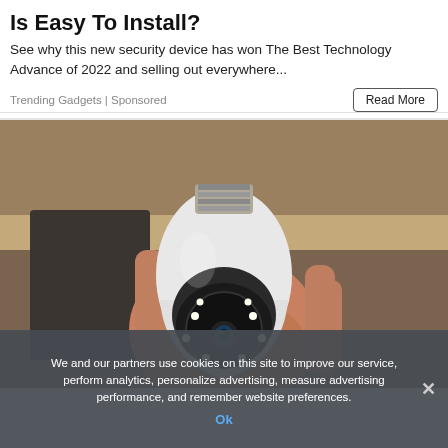Is Easy To Install?
See why this new security device has won The Best Technology Advance of 2022 and selling out everywhere...
Trending Gadgets | Sponsored
[Figure (photo): A hand holding a white light-bulb-shaped security camera with a lens and LED ring on the front and a screw base at the top, photographed in an indoor setting.]
We and our partners use cookies on this site to improve our service, perform analytics, personalize advertising, measure advertising performance, and remember website preferences.
Ok